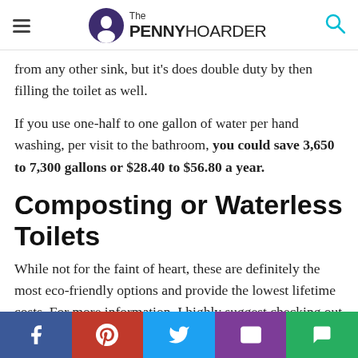The PENNY HOARDER
from any other sink, but it's does double duty by then filling the toilet as well.
If you use one-half to one gallon of water per hand washing, per visit to the bathroom, you could save 3,650 to 7,300 gallons or $28.40 to $56.80 a year.
Composting or Waterless Toilets
While not for the faint of heart, these are definitely the most eco-friendly options and provide the lowest lifetime costs. For more information, I highly suggest checking out The Humanure Handbook. It's a fascinating read.
This method might only work for the truly adventurous, but